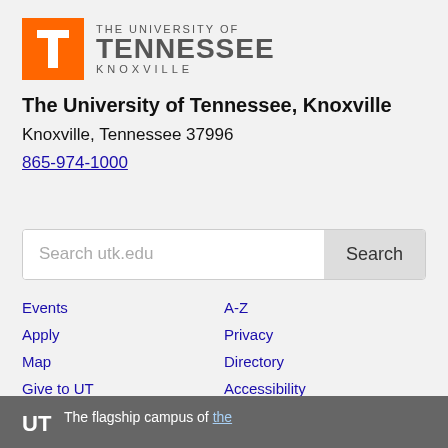[Figure (logo): University of Tennessee Knoxville logo with orange T block and wordmark]
The University of Tennessee, Knoxville
Knoxville, Tennessee 37996
865-974-1000
Search utk.edu
Events
Apply
Map
Give to UT
A-Z
Privacy
Directory
Accessibility
The flagship campus of the University of Tennessee